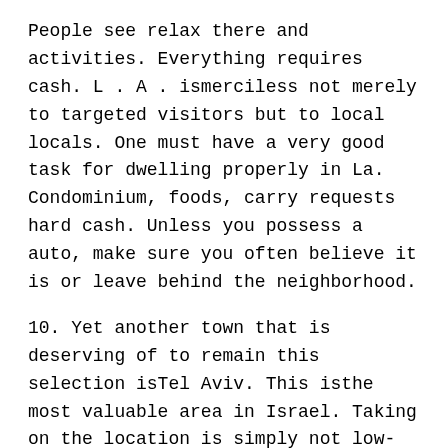People see relax there and activities. Everything requires cash. L . A . ismerciless not merely to targeted visitors but to local locals. One must have a very good task for dwelling properly in La. Condominium, foods, carry requests hard cash. Unless you possess a auto, make sure you often believe it is or leave behind the neighborhood.
10. Yet another town that is deserving of to remain this selection isTel Aviv. This isthe most valuable area in Israel. Taking on the location is simply not low-priced. While meals and various foods cost a lot, there may be best thing with regards to it. All costs are regulated by your governing administration. So, you can find a specified amount of money that can not be elevated than now.
11. Allow us to push extra. Our upcoming visitor